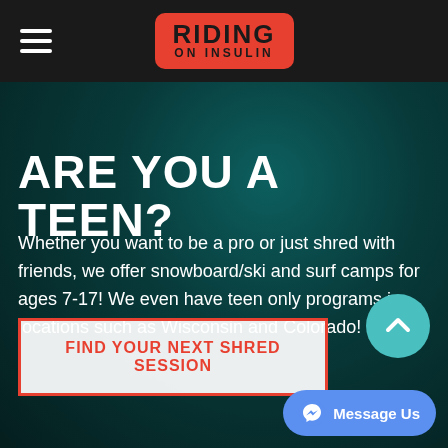[Figure (screenshot): Riding on Insulin website screenshot showing a dark teal mountain biking background with navigation header, headline 'ARE YOU A TEEN?', descriptive text about snowboard/ski and surf camps, a CTA button, and a Message Us button]
ARE YOU A TEEN?
Whether you want to be a pro or just shred with friends, we offer snowboard/ski and surf camps for ages 7-17! We even have teen only programs in locations such as Wisconsin and Colorado!
FIND YOUR NEXT SHRED SESSION
Message Us